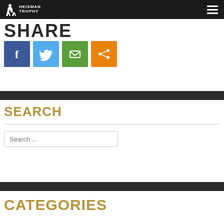Heisman Trophy
SHARE
[Figure (other): Social share buttons: Facebook (blue), Twitter (light blue), Email (green), Share (orange)]
SEARCH
Search ...
CATEGORIES